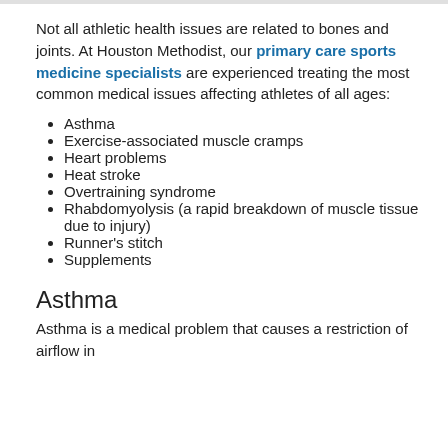Not all athletic health issues are related to bones and joints. At Houston Methodist, our primary care sports medicine specialists are experienced treating the most common medical issues affecting athletes of all ages:
Asthma
Exercise-associated muscle cramps
Heart problems
Heat stroke
Overtraining syndrome
Rhabdomyolysis (a rapid breakdown of muscle tissue due to injury)
Runner's stitch
Supplements
Asthma
Asthma is a medical problem that causes a restriction of airflow in